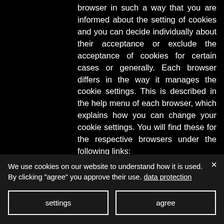browser in such a way that you are informed about the setting of cookies and you can decide individually about their acceptance or exclude the acceptance of cookies for certain cases or generally. Each browser differs in the way it manages the cookie settings. This is described in the help menu of each browser, which explains how you can change your cookie settings. You will find these for the respective browsers under the following links: Internet Explorer: https://support.microsoft.com/en-us/help/17442/windows-internet-
We use cookies on our website to understand how it is used. By clicking "agree" you approve their use. data protection
settings
agree